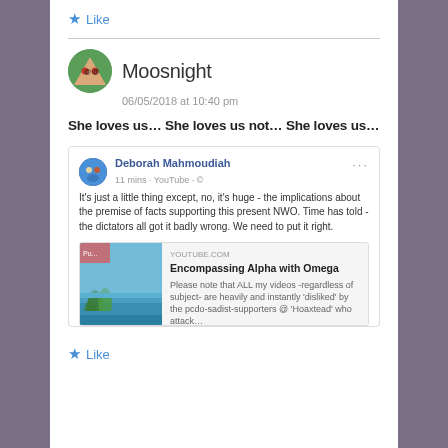★ Like
Moosnight
06/05/2018 at 10:40 pm
She loves us… She loves us not… She loves us…
[Figure (screenshot): Embedded Facebook post by Deborah Mahmoudiah, posted 11 mins ago on YouTube. Text: 'It's just a little thing except, no, it's huge - the implications about the premise of facts supporting this present NWO. Time has told - the dictators all got it badly wrong. We need to put it right.' Includes a YouTube link card titled 'Encompassing Alpha with Omega' from YOUTUBE.COM with a beach photo thumbnail.]
★ Like